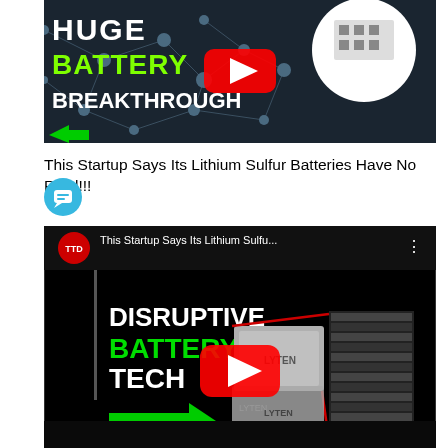[Figure (screenshot): YouTube thumbnail showing 'HUGE BATTERY BREAKTHROUGH' text with green and white letters on dark background with molecular network graphic and circular inset image. YouTube play button visible.]
This Startup Says Its Lithium Sulfur Batteries Have No Rival!!!
[Figure (screenshot): YouTube video embed showing 'DISRUPTIVE BATTERY TECH' in green and white text with Lyten battery product images, YouTube play button, TTD channel logo, and title 'This Startup Says Its Lithium Sulfu...' with chat bubble icon overlay.]